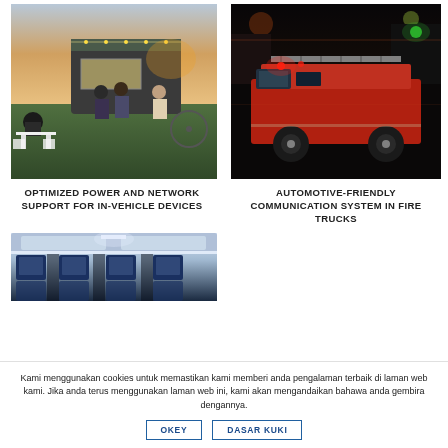[Figure (photo): Food truck or outdoor bar scene with people gathered at dusk]
[Figure (photo): Fire truck driving at night with motion blur and lights]
OPTIMIZED POWER AND NETWORK SUPPORT FOR IN-VEHICLE DEVICES
AUTOMOTIVE-FRIENDLY COMMUNICATION SYSTEM IN FIRE TRUCKS
[Figure (photo): Inside of an airplane showing seats and overhead compartments]
Kami menggunakan cookies untuk memastikan kami memberi anda pengalaman terbaik di laman web kami. Jika anda terus menggunakan laman web ini, kami akan mengandaikan bahawa anda gembira dengannya.
OKEY
DASAR KUKI